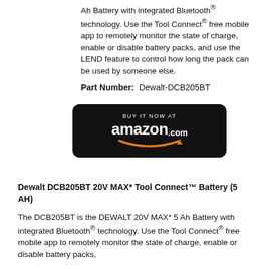Ah Battery with integrated Bluetooth® technology. Use the Tool Connect® free mobile app to remotely monitor the state of charge, enable or disable battery packs, and use the LEND feature to control how long the pack can be used by someone else.
Part Number:  Dewalt-DCB205BT
[Figure (other): Amazon.com buy it now button – black rounded rectangle with 'BUY IT NOW AT' in small caps and 'amazon.com' logo with orange smile arrow]
Dewalt DCB205BT 20V MAX* Tool Connect™ Battery (5 AH)
The DCB205BT is the DEWALT 20V MAX* 5 Ah Battery with integrated Bluetooth® technology. Use the Tool Connect® free mobile app to remotely monitor the state of charge, enable or disable battery packs,